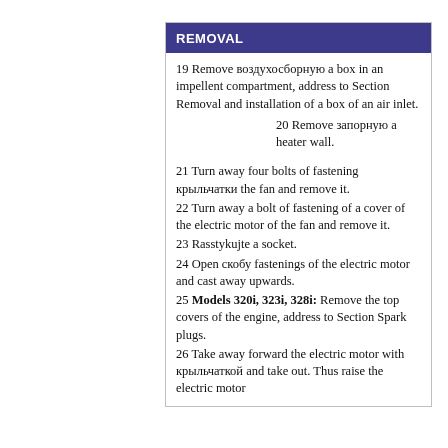REMOVAL
19 Remove воздухосборную a box in an impellent compartment, address to Section Removal and installation of a box of an air inlet.
20 Remove запорную a heater wall.
21 Turn away four bolts of fastening крыльчатки the fan and remove it.
22 Turn away a bolt of fastening of a cover of the electric motor of the fan and remove it.
23 Rasstykujte a socket.
24 Open скобу fastenings of the electric motor and cast away upwards.
25 Models 320i, 323i, 328i: Remove the top covers of the engine, address to Section Spark plugs.
26 Take away forward the electric motor with крыльчаткой and take out. Thus raise the electric motor